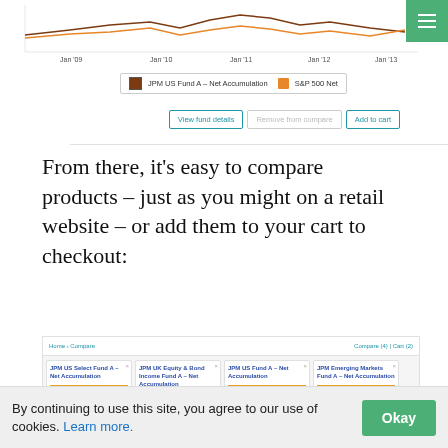[Figure (screenshot): Screenshot showing a fund comparison chart with JPM US Fund A – Net Accumulation and S&P 500 Net lines from Jan '09 to Jan '13, with legend and action buttons (View fund details, Remove from compare, Add to cart), and a green hamburger menu button.]
From there, it's easy to compare products – just as you might on a retail website – or add them to your cart to checkout:
[Figure (screenshot): Screenshot showing a fund comparison page with four fund cards: JPM US Select Fund A – Net Accumulation, JPM UK Equity & Bond Income Fund A – Net Accumulation, JPM US Fund A – Net Accumulation, and JPM Emerging Markets Fund A – Net Accumulation. Each card shows Type, Region, Sector details and Cumulative Performance sections with small charts.]
By continuing to use this site, you agree to our use of cookies. Learn more.